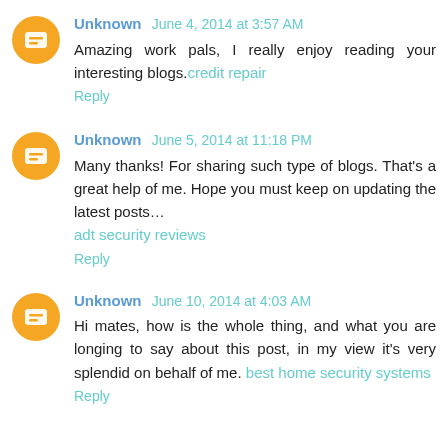Unknown June 4, 2014 at 3:57 AM
Amazing work pals, I really enjoy reading your interesting blogs. credit repair
Reply
Unknown June 5, 2014 at 11:18 PM
Many thanks! For sharing such type of blogs. That's a great help of me. Hope you must keep on updating the latest posts… adt security reviews
Reply
Unknown June 10, 2014 at 4:03 AM
Hi mates, how is the whole thing, and what you are longing to say about this post, in my view it's very splendid on behalf of me. best home security systems
Reply